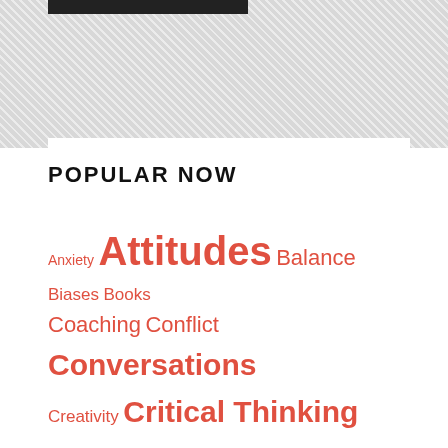[Figure (other): Hatched diagonal stripe background pattern at top of page with a dark header bar]
POPULAR NOW
Anxiety Attitudes Balance Biases Books Coaching Conflict Conversations Creativity Critical Thinking Decision-Making Discipline Emotions Entrepreneurs Etiquette Feedback Getting Along Getting Things Done Goals Great Manager Leadership Leadership Lessons Likeability Mental Models Mentoring Mindfulness Motivation